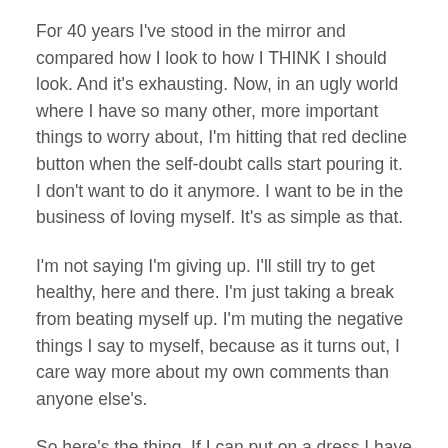For 40 years I've stood in the mirror and compared how I look to how I THINK I should look. And it's exhausting. Now, in an ugly world where I have so many other, more important things to worry about, I'm hitting that red decline button when the self-doubt calls start pouring it. I don't want to do it anymore. I want to be in the business of loving myself. It's as simple as that.
I'm not saying I'm giving up. I'll still try to get healthy, here and there. I'm just taking a break from beating myself up. I'm muting the negative things I say to myself, because as it turns out, I care way more about my own comments than anyone else's.
So here's the thing. If I can put on a dress I have no business wearing to go out with my husband or to go to a fancy dinner at a nice restaurant with my best friend because it makes me feel good, you can too. And if I'm putting this picture on my Facebook page for 15,000 people to see, well then you can